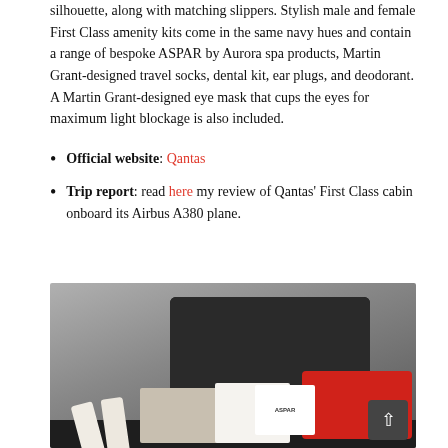silhouette, along with matching slippers. Stylish male and female First Class amenity kits come in the same navy hues and contain a range of bespoke ASPAR by Aurora spa products, Martin Grant-designed travel socks, dental kit, ear plugs, and deodorant. A Martin Grant-designed eye mask that cups the eyes for maximum light blockage is also included.
Official website: Qantas
Trip report: read here my review of Qantas' First Class cabin onboard its Airbus A380 plane.
[Figure (photo): Qantas First Class amenity kit: a dark/black zippered pouch and a red pouch, displayed with ASPAR by Aurora spa product tubes and boxes arranged in front on a dark surface.]